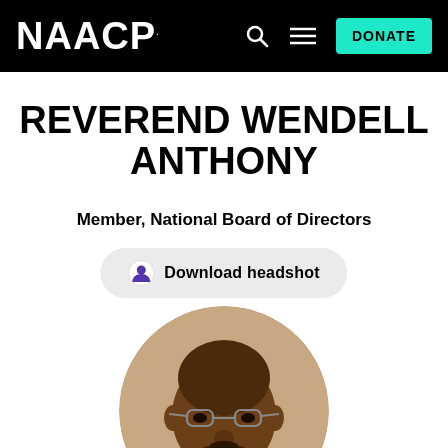NAACP — navigation bar with DONATE button
REVEREND WENDELL ANTHONY
Member, National Board of Directors
Download headshot
[Figure (photo): Round portrait photo of Reverend Wendell Anthony, a Black man wearing glasses and smiling, in a suit]